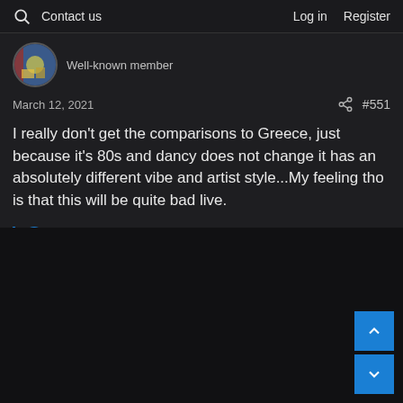Contact us   Log in   Register
Well-known member
March 12, 2021   #551
I really don't get the comparisons to Greece, just because it's 80s and dancy does not change it has an absolutely different vibe and artist style...My feeling tho is that this will be quite bad live.
Iker